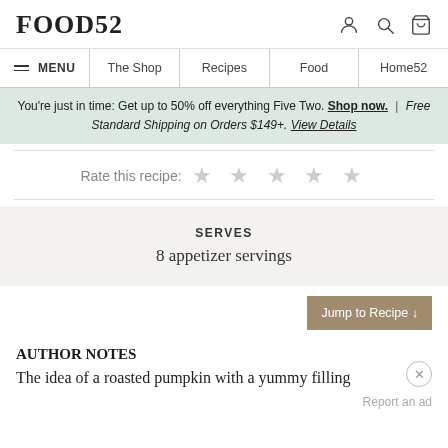FOOD52
MENU | The Shop | Recipes | Food | Home52
You're just in time: Get up to 50% off everything Five Two. Shop now. | Free Standard Shipping on Orders $149+. View Details
Rate this recipe: ★ ★ ★ ★ ★
SERVES
8 appetizer servings
AUTHOR NOTES
The idea of a roasted pumpkin with a yummy filling